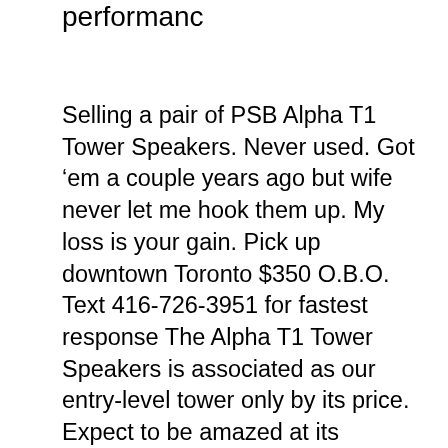performanc
Selling a pair of PSB Alpha T1 Tower Speakers. Never used. Got ‘em a couple years ago but wife never let me hook them up. My loss is your gain. Pick up downtown Toronto $350 O.B.O. Text 416-726-3951 for fastest response The Alpha T1 Tower Speakers is associated as our entry-level tower only by its price. Expect to be amazed at its distinct The Alpha T1Tower Speakersis associated as our entry-level tower only by its price. Expect to be amazed at its distinct performance ability, with brilliant highs and pronounced bass. Our engineers began by designing and building end...